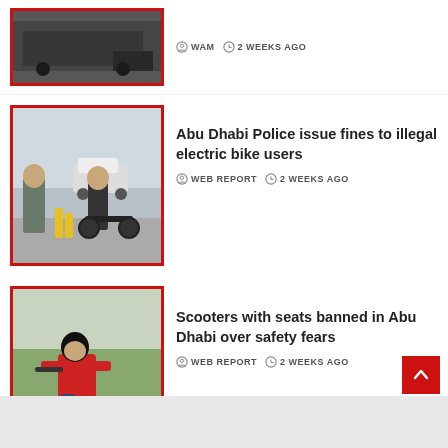[Figure (photo): Partial news article item — top of page, showing a photo of trucks/vehicles at the top with red border, and metadata: WAM, 2 WEEKS AGO]
WAM  2 WEEKS AGO
[Figure (photo): Police officer speaking to a man on an electric bike/scooter on a road, red border thumbnail]
Abu Dhabi Police issue fines to illegal electric bike users
WEB REPORT  2 WEEKS AGO
[Figure (photo): Person in red shirt and helmet riding a seated scooter on grass, red border thumbnail]
Scooters with seats banned in Abu Dhabi over safety fears
WEB REPORT  2 WEEKS AGO